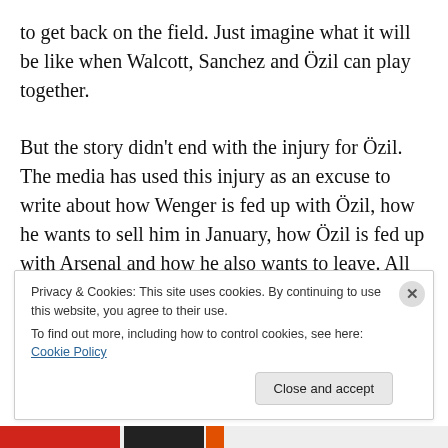to get back on the field. Just imagine what it will be like when Walcott, Sanchez and Özil can play together.
But the story didn't end with the injury for Özil. The media has used this injury as an excuse to write about how Wenger is fed up with Özil, how he wants to sell him in January, how Özil is fed up with Arsenal and how he also wants to leave. All of a sudden, every step that Özil took in
Privacy & Cookies: This site uses cookies. By continuing to use this website, you agree to their use.
To find out more, including how to control cookies, see here: Cookie Policy